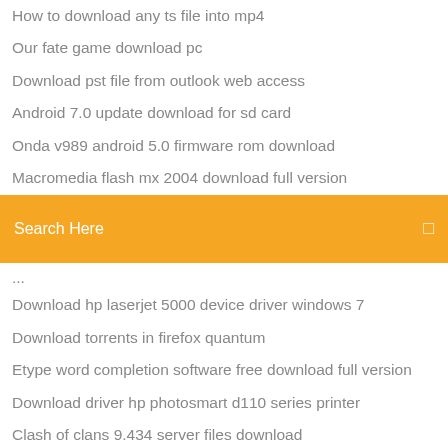How to download any ts file into mp4
Our fate game download pc
Download pst file from outlook web access
Android 7.0 update download for sd card
Onda v989 android 5.0 firmware rom download
Macromedia flash mx 2004 download full version
[Figure (screenshot): Orange search bar with 'Search Here' placeholder text and a search icon on the right]
Download hp laserjet 5000 device driver windows 7
Download torrents in firefox quantum
Etype word completion software free download full version
Download driver hp photosmart d110 series printer
Clash of clans 9.434 server files download
Download torrent infinity wars
Hp window 7 wireless driver download
Download ps vita games apk
No kb minecraft download
Left 4 dead 2 versus mode download mod